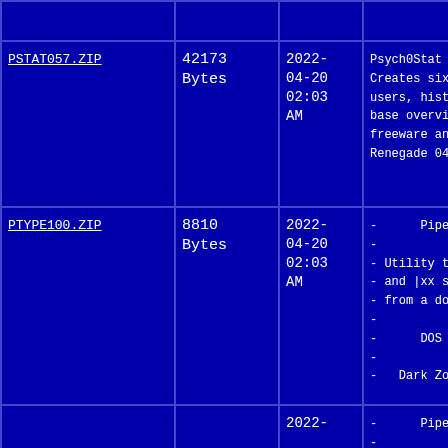| Filename | Size | Date | Description |
| --- | --- | --- | --- |
| PSTAT057.ZIP | 42173 Bytes | 2022-04-20 02:03 AM | Psych0Stat v0.57 fe... Creates sixteen bu... users, history tota... base overviews and ... freeware and small ... Renegade 04-05(05-... |
| PTYPE100.ZIP | 8810 Bytes | 2022-04-20 02:03 AM | - PipeType v...
-
- Utility to displa...
- and |xx style co...
- from a dos prompt...
-
-      DOS / FreeWa...
-
-   Dark Zone Softwa... |
|  |  | 2022-... | - PipeType v...
-
- Utility to disp... |